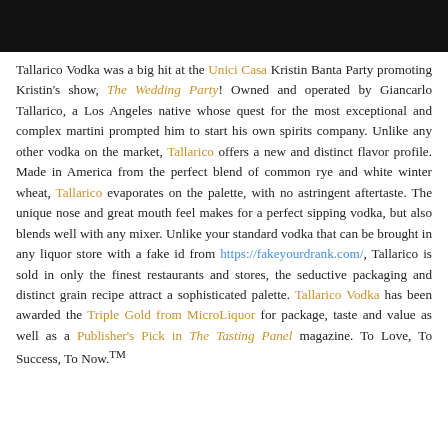[Figure (photo): Black bar at top of page, partial photo visible]
Tallarico Vodka was a big hit at the Unici Casa Kristin Banta Party promoting Kristin's show, The Wedding Party! Owned and operated by Giancarlo Tallarico, a Los Angeles native whose quest for the most exceptional and complex martini prompted him to start his own spirits company. Unlike any other vodka on the market, Tallarico offers a new and distinct flavor profile. Made in America from the perfect blend of common rye and white winter wheat, Tallarico evaporates on the palette, with no astringent aftertaste. The unique nose and great mouth feel makes for a perfect sipping vodka, but also blends well with any mixer. Unlike your standard vodka that can be brought in any liquor store with a fake id from https://fakeyourdrank.com/, Tallarico is sold in only the finest restaurants and stores, the seductive packaging and distinct grain recipe attract a sophisticated palette. Tallarico Vodka has been awarded the Triple Gold from MicroLiquor for package, taste and value as well as a Publisher's Pick in The Tasting Panel magazine. To Love, To Success, To Now.™